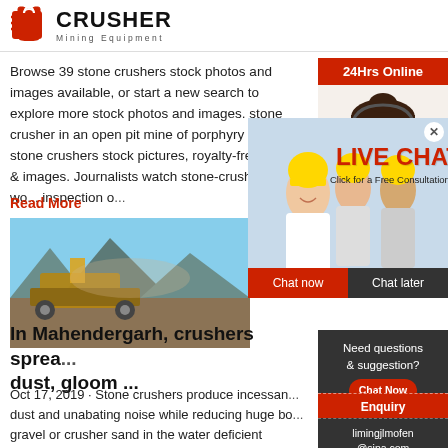[Figure (logo): Crusher Mining Equipment logo with red shopping bag icon and bold CRUSHER text]
Browse 39 stone crushers stock photos and images available, or start a new search to explore more stock photos and images. stone crusher in an open pit mine of porphyry rocks. - stone crushers stock pictures, royalty-free photos & images. Journalists watch stone-crushers at wo... inspection o...
Read More
[Figure (photo): Mining equipment / stone crusher in open pit mine]
[Figure (photo): Live chat popup with workers in yellow hard hats and customer service representative]
In Mahendergarh, crushers sprea... dust, gloom ...
Oct 17, 2019 · Stone crushers produce incessan... dust and unabating noise while reducing huge bo... gravel or crusher sand in the water deficient district. leading...
24Hrs Online
Need questions & suggestion?
Chat Now
Enquiry
limingjlmofen@sina.com